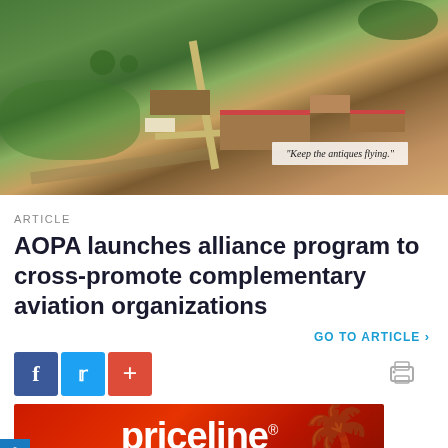[Figure (photo): Aerial photograph of a small airfield/fly-in event with grass fields, buildings with red rooftops, parked aircraft, cars, roads, and trees. A barn wall reads 'Keep the antiques flying.']
ARTICLE
AOPA launches alliance program to cross-promote complementary aviation organizations
GO TO ARTICLE >
[Figure (infographic): Social sharing icons: Facebook (blue), Twitter (light blue), Google Plus (red). A print icon on the right.]
[Figure (other): Priceline advertisement banner with red background and white priceline® logo text]